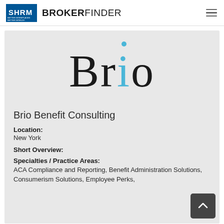SHRM BROKERFINDER
[Figure (logo): Brio Benefit Consulting logo — large serif text 'Brio' with the letter i rendered in light blue]
Brio Benefit Consulting
Location:
New York
Short Overview:
Specialties / Practice Areas:
ACA Compliance and Reporting, Benefit Administration Solutions, Consumerism Solutions, Employee Perks,